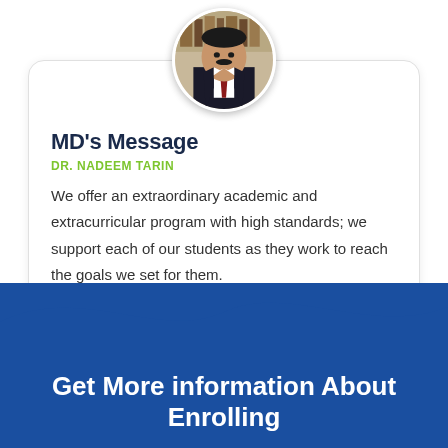[Figure (photo): Circular portrait photo of Dr. Nadeem Tarin, a man in a dark suit with a red tie, standing in front of bookshelves]
MD's Message
DR. NADEEM TARIN
We offer an extraordinary academic and extracurricular program with high standards; we support each of our students as they work to reach the goals we set for them.
Get More information About Enrolling